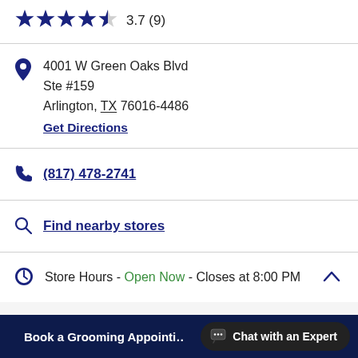3.7 (9) star rating
4001 W Green Oaks Blvd
Ste #159
Arlington, TX 76016-4486
Get Directions
(817) 478-2741
Find nearby stores
Store Hours - Open Now - Closes at 8:00 PM
Saturday   9:00 AM - 8:00 PM
Book a Grooming Appointi...  Chat with an Expert